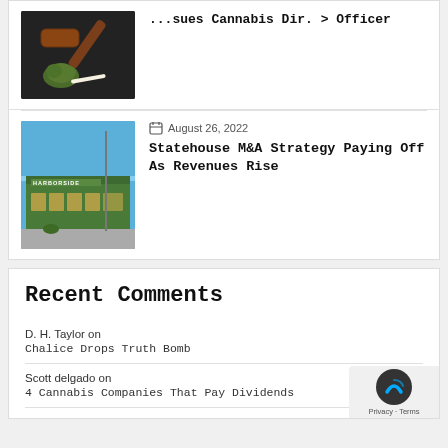[Figure (photo): A gavel with cannabis buds on a dark background]
Statehouse M&A Strategy Paying Off As Revenues Rise
August 26, 2022
[Figure (photo): Exterior of a Harborside cannabis dispensary building with green facade]
Recent Comments
D. H. Taylor on
Chalice Drops Truth Bomb
Scott delgado on
4 Cannabis Companies That Pay Dividends